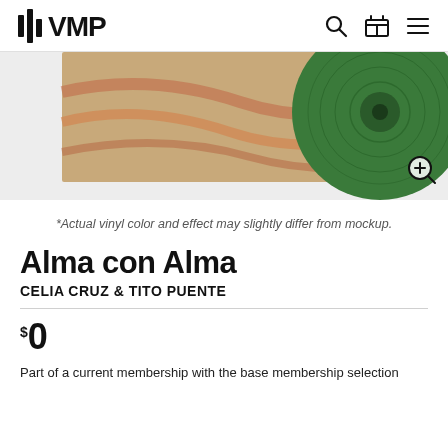VMP
[Figure (photo): Product image area showing partial vinyl record album cover with warm tones and a green vinyl record disc visible on the right side, against a light gray background. A zoom-in magnifier icon is in the bottom right corner.]
*Actual vinyl color and effect may slightly differ from mockup.
Alma con Alma
CELIA CRUZ & TITO PUENTE
$0
Part of a current membership with the base membership selection...